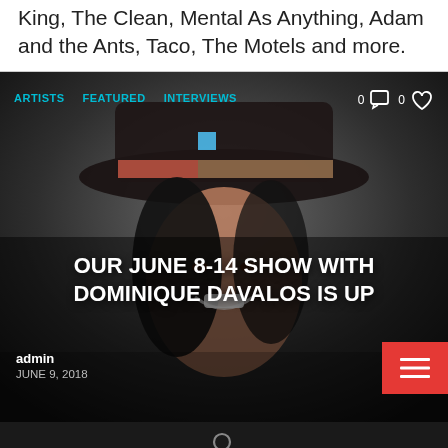Squeeze and Blaine L. Reininger plus classic from King, The Clean, Mental As Anything, Adam and the Ants, Taco, The Motels and more.
[Figure (photo): A smiling woman wearing a patterned hat with a dark background. Overlaid navigation tags: ARTISTS, FEATURED, INTERVIEWS. Social icons showing 0 comments and 0 likes. Title text 'OUR JUNE 8-14 SHOW WITH DOMINIQUE DAVALOS IS UP'. Author: admin, Date: JUNE 9, 2018. Red hamburger menu button bottom-right.]